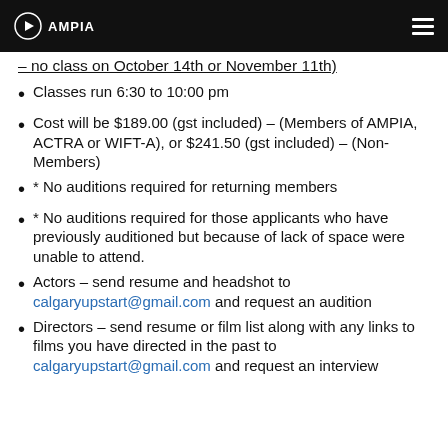AMPIA
– no class on October 14th or November 11th)
Classes run 6:30 to 10:00 pm
Cost will be $189.00 (gst included) – (Members of AMPIA, ACTRA or WIFT-A), or $241.50 (gst included) – (Non-Members)
* No auditions required for returning members
* No auditions required for those applicants who have previously auditioned but because of lack of space were unable to attend.
Actors – send resume and headshot to calgaryupstart@gmail.com and request an audition
Directors – send resume or film list along with any links to films you have directed in the past to calgaryupstart@gmail.com and request an interview